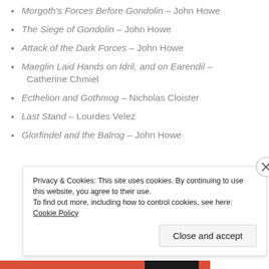Morgoth's Forces Before Gondolin – John Howe
The Siege of Gondolin – John Howe
Attack of the Dark Forces – John Howe
Maeglin Laid Hands on Idril, and on Earendil – Catherine Chmiel
Ecthelion and Gothmog – Nicholas Cloister
Last Stand – Lourdes Velez
Glorfindel and the Balrog – John Howe
Privacy & Cookies: This site uses cookies. By continuing to use this website, you agree to their use. To find out more, including how to control cookies, see here: Cookie Policy
Close and accept